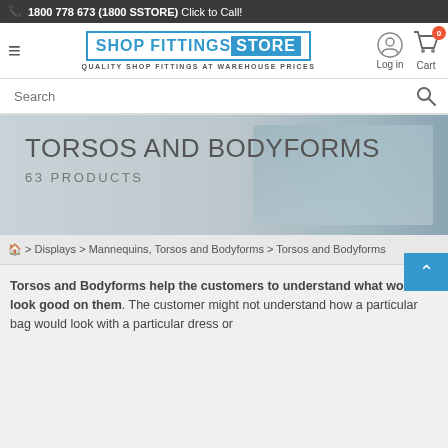1800 778 673 (1800 SSTORE) Click to Call!
[Figure (logo): Shop Fittings Store logo with tagline QUALITY SHOP FITTINGS AT WAREHOUSE PRICES]
[Figure (screenshot): Login icon]
[Figure (screenshot): Cart icon with badge showing 0]
Search
[Figure (photo): Banner image of clothing store with text TORSOS AND BODYFORMS and 63 PRODUCTS]
TORSOS AND BODYFORMS
63 PRODUCTS
Home > Displays > Mannequins, Torsos and Bodyforms > Torsos and Bodyforms
Torsos and Bodyforms help the customers to understand what would look good on them. The customer might not understand how a particular bag would look with a particular dress or